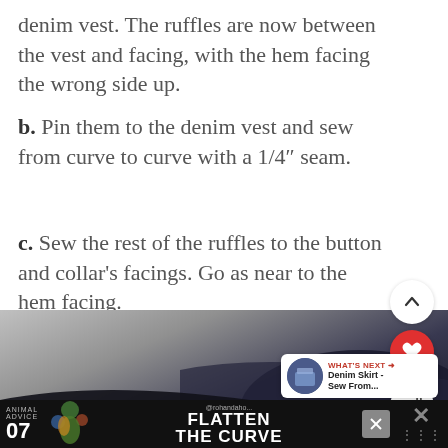denim vest. The ruffles are now between the vest and facing, with the hem facing the wrong side up.
b. Pin them to the denim vest and sew from curve to curve with a 1/4" seam.
c. Sew the rest of the ruffles to the button and collar's facings. Go as near to the hem facing.
[Figure (photo): Photo of dark denim fabric being sewn, showing ruffles pinned to vest. Watermark reads 'Tutorial © Craft Passion'.]
[Figure (screenshot): Mobile UI overlay showing up arrow button, red heart/like button, and share button on the right side. 'What's Next' card showing 'Denim Skirt - Sew From...' with thumbnail. Bottom advertisement bar: Animal Advice 07 - Flatten The Curve, with close button and X icon.]